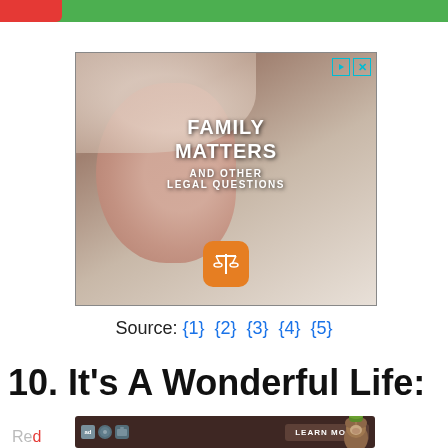[Figure (screenshot): Top green navigation bar with red element on left]
[Figure (photo): Advertisement image showing a sleeping baby with text 'FAMILY MATTERS AND OTHER LEGAL QUESTIONS' and a scales of justice icon, with play and close buttons in top right corner]
Source: {1} {2} {3} {4} {5}
10. It’s A Wonderful Life:
[Figure (screenshot): Bottom advertisement banner with dark brown background showing icons, LEARN MORE button, and a cartoon bear ranger]